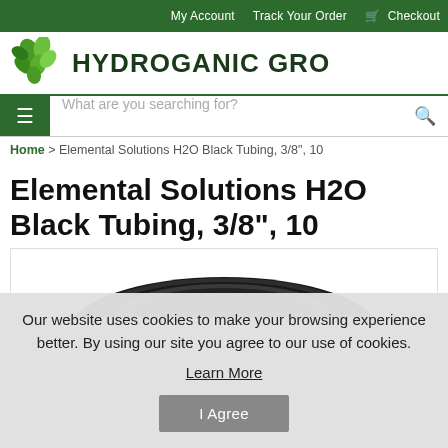My Account | Track Your Order | Checkout
[Figure (logo): Hydroganic Gro logo with green leaf/plant motif icon and bold dark text 'HYDROGANIC GRO']
What are you searching for?
Home > Elemental Solutions H2O Black Tubing, 3/8", 10
Elemental Solutions H2O Black Tubing, 3/8", 10
[Figure (photo): Black tubing coiled, top portion visible against white background]
Our website uses cookies to make your browsing experience better. By using our site you agree to our use of cookies.
Learn More
I Agree